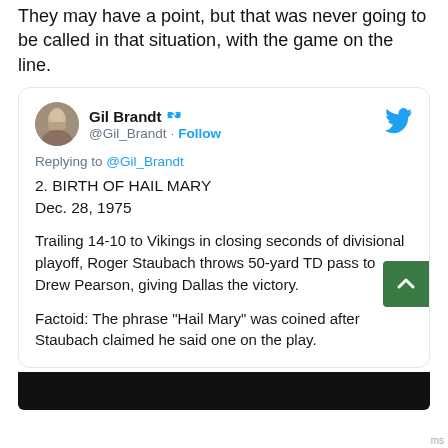They may have a point, but that was never going to be called in that situation, with the game on the line.
[Figure (screenshot): Embedded tweet from Gil Brandt (@Gil_Brandt) with verified checkmark and Follow button. Replying to @Gil_Brandt. Content: '2. BIRTH OF HAIL MARY Dec. 28, 1975'. Body text: 'Trailing 14-10 to Vikings in closing seconds of divisional playoff, Roger Staubach throws 50-yard TD pass to Drew Pearson, giving Dallas the victory.' Factoid: 'The phrase "Hail Mary" was coined after Staubach claimed he said one on the play.' With a green scroll-to-top button in the lower right.]